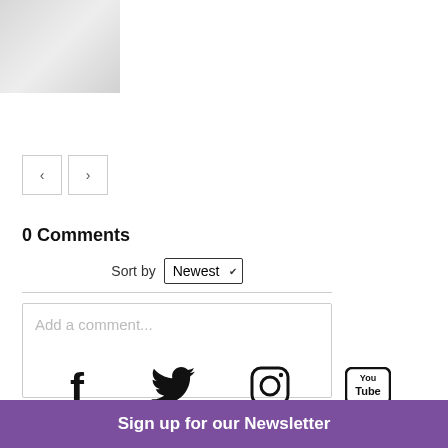[Figure (photo): Thumbnail photo, faded/grayscale image at top left]
[Figure (other): Navigation previous/next buttons (< and >)]
0 Comments
Sort by Newest
[Figure (other): Comment text input area with placeholder: Add a comment...]
Facebook Comments Plugin
[Figure (other): Social media icons: Facebook, Twitter, Instagram, YouTube]
Sign up for our Newsletter